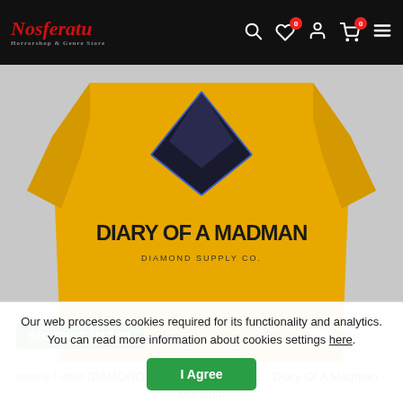Nosferatu
[Figure (photo): Yellow men's t-shirt with DIAMOND x OZZY OSBOURNE Diary of a Madman graphic print, shown on a model or flat lay with a dark diamond logo at the top and bold text on the front.]
SHIPPING IN 24H
men's t-shirt DIAMOND x OZZY OSBOURNE - Diary Of A Madman - Monarch
£ 34,45
Our web processes cookies required for its functionality and analytics. You can read more information about cookies settings here.
I Agree